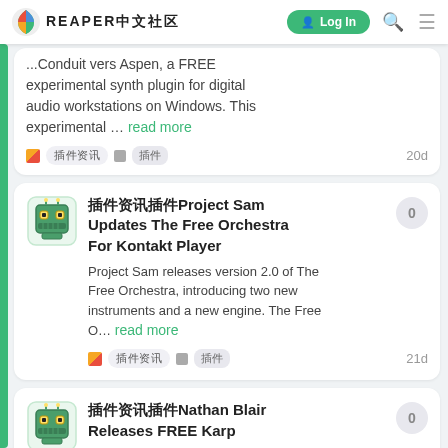REAPER中文社区 Log In
...Conduit vers Aspen, a FREE experimental synth plugin for digital audio workstations on Windows. This experimental … read more
插件资讯  插件  20d
插件资讯插件Project Sam Updates The Free Orchestra For Kontakt Player
Project Sam releases version 2.0 of The Free Orchestra, introducing two new instruments and a new engine. The Free O… read more
插件资讯  插件  21d
插件资讯插件Nathan Blair Releases FREE Karp